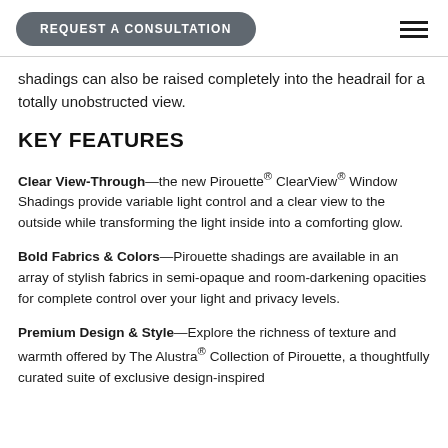REQUEST A CONSULTATION
shadings can also be raised completely into the headrail for a totally unobstructed view.
KEY FEATURES
Clear View-Through—the new Pirouette® ClearView® Window Shadings provide variable light control and a clear view to the outside while transforming the light inside into a comforting glow.
Bold Fabrics & Colors—Pirouette shadings are available in an array of stylish fabrics in semi-opaque and room-darkening opacities for complete control over your light and privacy levels.
Premium Design & Style—Explore the richness of texture and warmth offered by The Alustra® Collection of Pirouette, a thoughtfully curated suite of exclusive design-inspired fabrics...